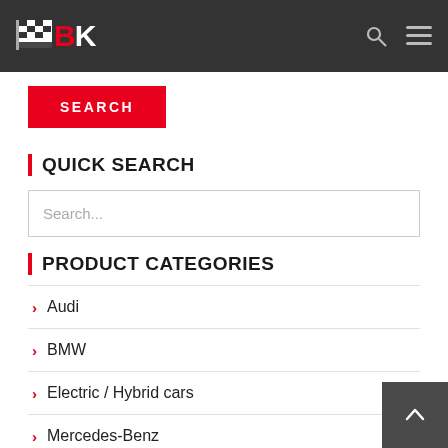BK logo with search and menu icons
SEARCH
QUICK SEARCH
Search...
PRODUCT CATEGORIES
Audi
BMW
Electric / Hybrid cars
Mercedes-Benz